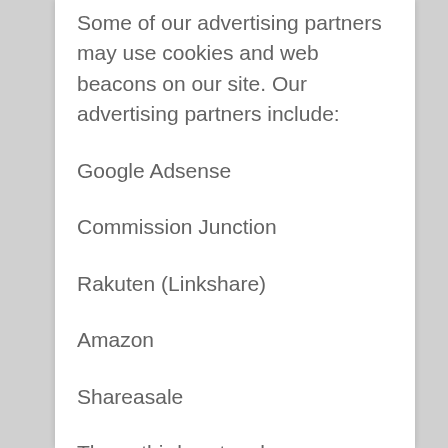Some of our advertising partners may use cookies and web beacons on our site. Our advertising partners include:
Google Adsense
Commission Junction
Rakuten (Linkshare)
Amazon
Shareasale
These third-party ad servers or ad networks use technology to send the advertisements and